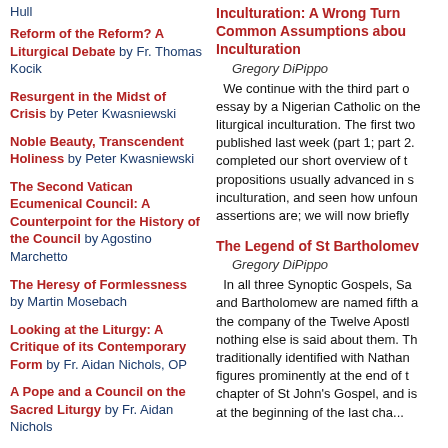Hull
Reform of the Reform? A Liturgical Debate by Fr. Thomas Kocik
Resurgent in the Midst of Crisis by Peter Kwasniewski
Noble Beauty, Transcendent Holiness by Peter Kwasniewski
The Second Vatican Ecumenical Council: A Counterpoint for the History of the Council by Agostino Marchetto
The Heresy of Formlessness by Martin Mosebach
Looking at the Liturgy: A Critique of its Contemporary Form by Fr. Aidan Nichols, OP
A Pope and a Council on the Sacred Liturgy by Fr. Aidan Nichols
Inculturation: A Wrong Turn Common Assumptions about Inculturation
Gregory DiPippo
We continue with the third part of an essay by a Nigerian Catholic on the liturgical inculturation. The first two were published last week (part 1; part 2.) We completed our short overview of the propositions usually advanced in support of inculturation, and seen how unfounded these assertions are; we will now briefly
The Legend of St Bartholomew
Gregory DiPippo
In all three Synoptic Gospels, Sa and Bartholomew are named fifth among the company of the Twelve Apostles, but nothing else is said about them. The latter is traditionally identified with Nathanael, who figures prominently at the end of the first chapter of St John's Gospel, and is mentioned at the beginning of the last cha...